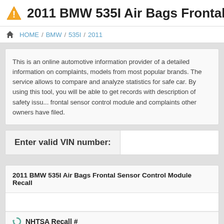2011 BMW 535I Air Bags Frontal Sensor Co
HOME / BMW / 535I / 2011
This is an online automotive information provider of a detailed information on complaints, models from most popular brands. The service allows to compare and analyze statistics for safe car. By using this tool, you will be able to get records with description of safety issues, frontal sensor control module and complaints other owners have filed.
Enter valid VIN number:
2011 BMW 535I Air Bags Frontal Sensor Control Module Recall
NHTSA Recall #
NHTSA Compaign #